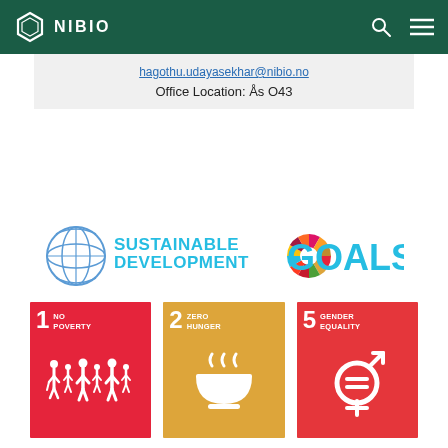NIBIO
hagothu.udayasekhar@nibio.no
Office Location: Ås O43
[Figure (logo): UN Sustainable Development Goals logo with circular colorful wheel emblem and text 'SUSTAINABLE DEVELOPMENT GOALS']
[Figure (infographic): SDG Goal 1 - No Poverty: red tile with number 1 and family silhouette icons]
[Figure (infographic): SDG Goal 2 - Zero Hunger: golden tile with number 2 and steaming bowl icon]
[Figure (infographic): SDG Goal 5 - Gender Equality: orange-red tile with number 5 and gender equality symbol]